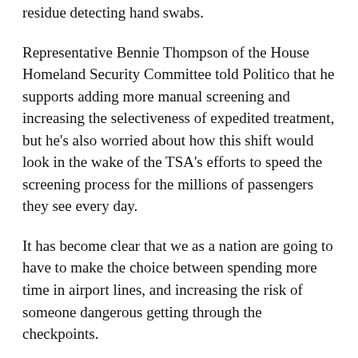residue detecting hand swabs.
Representative Bennie Thompson of the House Homeland Security Committee told Politico that he supports adding more manual screening and increasing the selectiveness of expedited treatment, but he’s also worried about how this shift would look in the wake of the TSA’s efforts to speed the screening process for the millions of passengers they see every day.
It has become clear that we as a nation are going to have to make the choice between spending more time in airport lines, and increasing the risk of someone dangerous getting through the checkpoints.
While submitting to more screenings may not seem ideal, it’s hard not to argue that something must be done about the TSA’s security lapses. If the TSA are going to change up their act in an effort to improve, it’s up to us as passengers to be